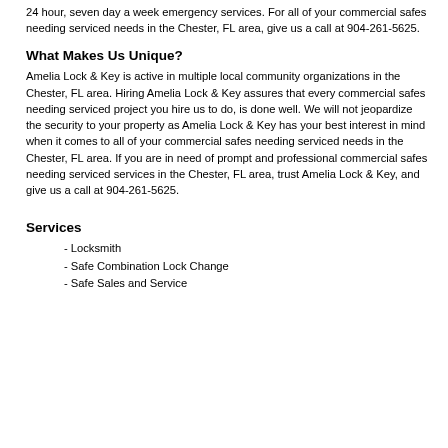24 hour, seven day a week emergency services. For all of your commercial safes needing serviced needs in the Chester, FL area, give us a call at 904-261-5625.
What Makes Us Unique?
Amelia Lock & Key is active in multiple local community organizations in the Chester, FL area. Hiring Amelia Lock & Key assures that every commercial safes needing serviced project you hire us to do, is done well. We will not jeopardize the security to your property as Amelia Lock & Key has your best interest in mind when it comes to all of your commercial safes needing serviced needs in the Chester, FL area. If you are in need of prompt and professional commercial safes needing serviced services in the Chester, FL area, trust Amelia Lock & Key, and give us a call at 904-261-5625.
Services
- Locksmith
- Safe Combination Lock Change
- Safe Sales and Service